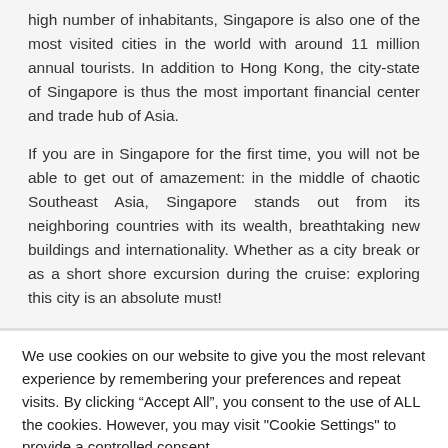high number of inhabitants, Singapore is also one of the most visited cities in the world with around 11 million annual tourists. In addition to Hong Kong, the city-state of Singapore is thus the most important financial center and trade hub of Asia.
If you are in Singapore for the first time, you will not be able to get out of amazement: in the middle of chaotic Southeast Asia, Singapore stands out from its neighboring countries with its wealth, breathtaking new buildings and internationality. Whether as a city break or as a short shore excursion during the cruise: exploring this city is an absolute must!
We use cookies on our website to give you the most relevant experience by remembering your preferences and repeat visits. By clicking “Accept All”, you consent to the use of ALL the cookies. However, you may visit "Cookie Settings" to provide a controlled consent.